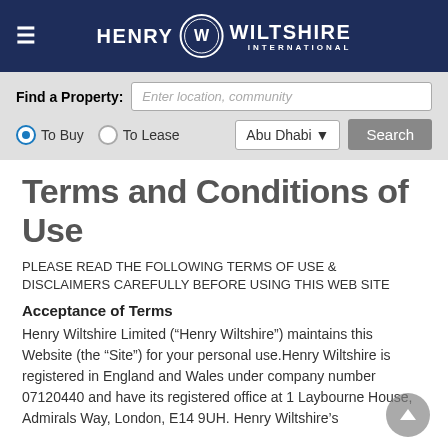HENRY WILTSHIRE INTERNATIONAL
[Figure (screenshot): Property search bar with Find a Property label, text input, To Buy and To Lease radio buttons, Abu Dhabi dropdown, and Search button]
Terms and Conditions of Use
PLEASE READ THE FOLLOWING TERMS OF USE & DISCLAIMERS CAREFULLY BEFORE USING THIS WEB SITE
Acceptance of Terms
Henry Wiltshire Limited (“Henry Wiltshire”) maintains this Website (the “Site”) for your personal use.Henry Wiltshire is registered in England and Wales under company number 07120440 and have its registered office at 1 Laybourne House, Admirals Way, London, E14 9UH. Henry Wiltshire’s